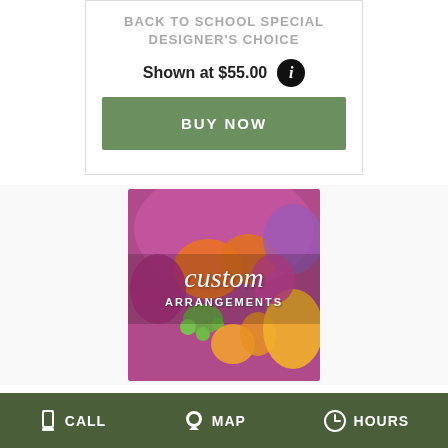BACK TO SCHOOL SPECIAL DESIGNER'S CHOICE
Shown at $55.00
BUY NOW
[Figure (photo): Custom floral arrangements photo showing orange roses, purple/magenta flowers, green berries, and yellow/orange lilies with text overlay reading 'custom ARRANGEMENTS']
CALL   MAP   HOURS